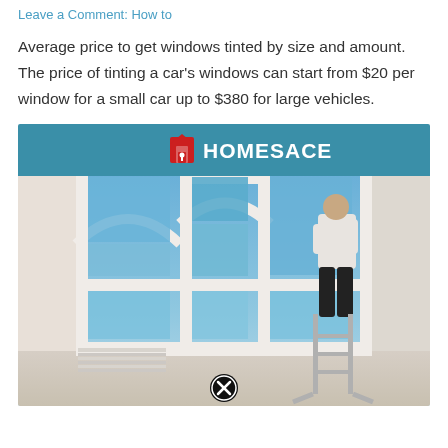Leave a Comment: How to
Average price to get windows tinted by size and amount. The price of tinting a car’s windows can start from $20 per window for a small car up to $380 for large vehicles.
[Figure (photo): HOMESACE branded image showing a person on a ladder tinting large arched windows inside a room with white window frames and blue sky visible outside. A close/dismiss button is at the bottom center.]